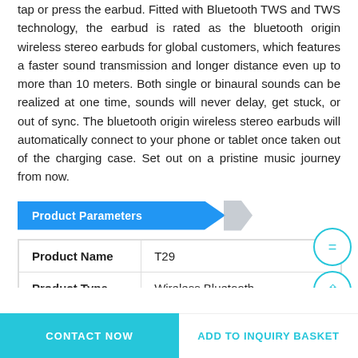tap or press the earbud. Fitted with Bluetooth TWS and TWS technology, the earbud is rated as the bluetooth origin wireless stereo earbuds for global customers, which features a faster sound transmission and longer distance even up to more than 10 meters. Both single or binaural sounds can be realized at one time, sounds will never delay, get stuck, or out of sync. The bluetooth origin wireless stereo earbuds will automatically connect to your phone or tablet once taken out of the charging case. Set out on a pristine music journey from now.
Product Parameters
| Product Name | T29 |
| --- | --- |
| Product Type | Wireless Bluetooth |
CONTACT NOW | ADD TO INQUIRY BASKET